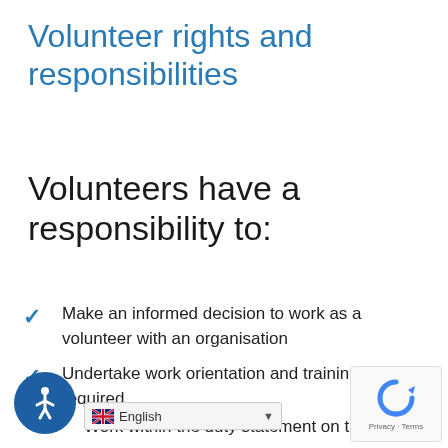Volunteer rights and responsibilities
Volunteers have a responsibility to:
Make an informed decision to work as a volunteer with an organisation
Undertake work orientation and training as required
Work within the duty statement on tasks kills and experience